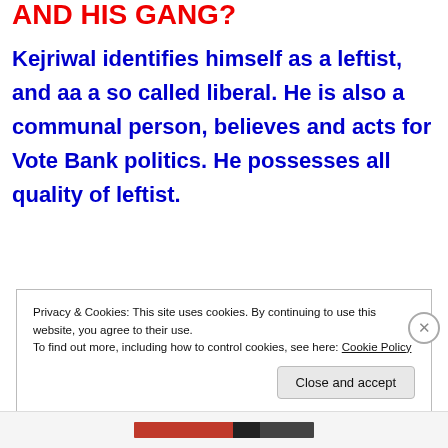AND HIS GANG?
Kejriwal identifies himself as a leftist, and aa a so called liberal. He is also a communal person, believes and acts for Vote Bank politics. He possesses all quality of leftist.
Privacy & Cookies: This site uses cookies. By continuing to use this website, you agree to their use.
To find out more, including how to control cookies, see here: Cookie Policy
Close and accept